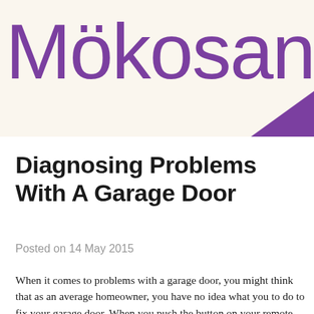Mokosan
Diagnosing Problems With A Garage Door
Posted on 14 May 2015
When it comes to problems with a garage door, you might think that as an average homeowner, you have no idea what you to do to fix your garage door. When you push the button on your remote, paying attention to what happens